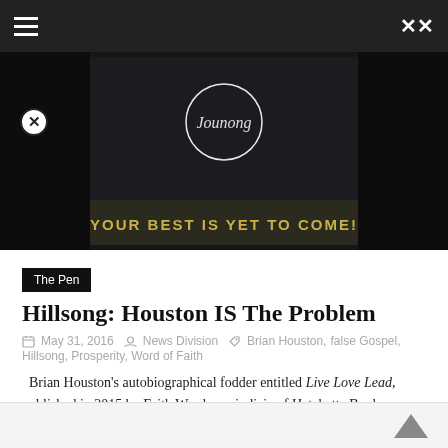[Figure (screenshot): Website navigation bar with hamburger menu icon on left and shuffle icon on right, dark background]
[Figure (photo): Dark promotional banner with text 'YOUR BEST IS YET TO COME!' over a dark background with cursive signature logo. A close (X) button overlays the top-left corner.]
The Pen
Hillsong: Houston IS The Problem
May 31, 2016  News Division  Brian Houston, false Gospel, Hillsong, Prosperity, Word of Faith
Brian Houston's autobiographical fodder entitled Live Love Lead, published in 2015 by Faith Words, an indicia of Hatchette Book
Read more